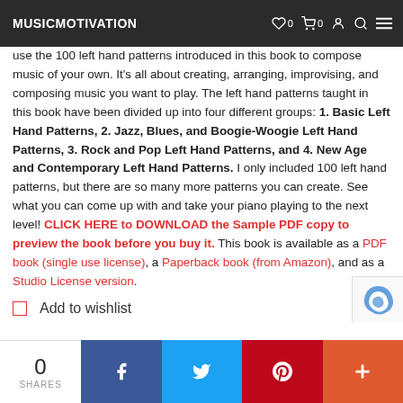MUSICMOTIVATION
use the 100 left hand patterns introduced in this book to compose music of your own. It's all about creating, arranging, improvising, and composing music you want to play. The left hand patterns taught in this book have been divided up into four different groups: 1. Basic Left Hand Patterns, 2. Jazz, Blues, and Boogie-Woogie Left Hand Patterns, 3. Rock and Pop Left Hand Patterns, and 4. New Age and Contemporary Left Hand Patterns. I only included 100 left hand patterns, but there are so many more patterns you can create. See what you can come up with and take your piano playing to the next level! CLICK HERE to DOWNLOAD the Sample PDF copy to preview the book before you buy it. This book is available as a PDF book (single use license), a Paperback book (from Amazon), and as a Studio License version.
Add to wishlist
0 SHARES | Facebook | Twitter | Pinterest | +